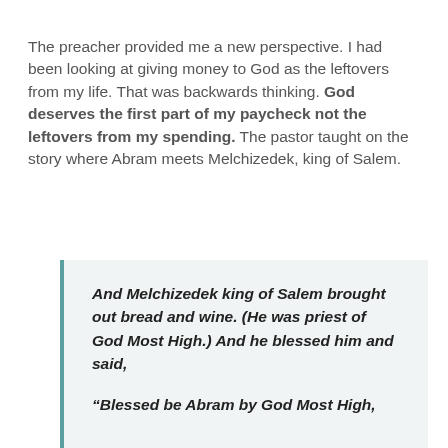The preacher provided me a new perspective. I had been looking at giving money to God as the leftovers from my life. That was backwards thinking. God deserves the first part of my paycheck not the leftovers from my spending. The pastor taught on the story where Abram meets Melchizedek, king of Salem.
And Melchizedek king of Salem brought out bread and wine. (He was priest of God Most High.) And he blessed him and said,

“Blessed be Abram by God Most High,